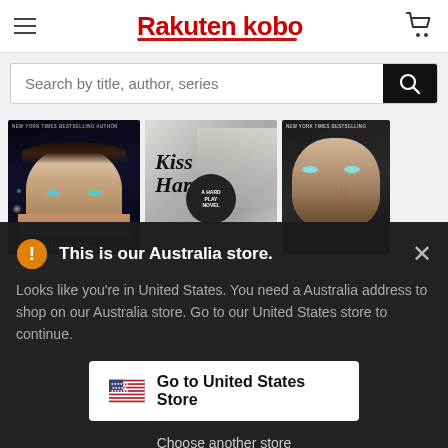[Figure (screenshot): Rakuten Kobo website header with hamburger menu, Rakuten Kobo logo in red, and shopping cart icon]
Search by title, author, series
[Figure (photo): Three romance novel book covers side by side: first shows a young man's face on dark background, second shows 'Kiss Hard - A Hard Play Novel' in black and white, third shows a man's face on dark background with 'New York Times Bestselling Author' text]
This is our Australia store.
Looks like you're in United States. You need a Australia address to shop on our Australia store. Go to our United States store to continue.
Go to United States Store
Choose another store